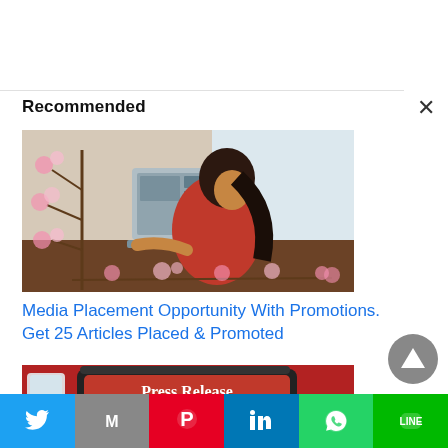Recommended
[Figure (photo): Woman in red top smiling, sitting at a desk with a laptop, with decorative flower branch overlay]
Media Placement Opportunity With Promotions. Get 25 Articles Placed & Promoted
[Figure (photo): Press Release sign with a glass of water and tablet device]
Twitter | Gmail | Pinterest | LinkedIn | WhatsApp | Line social share buttons